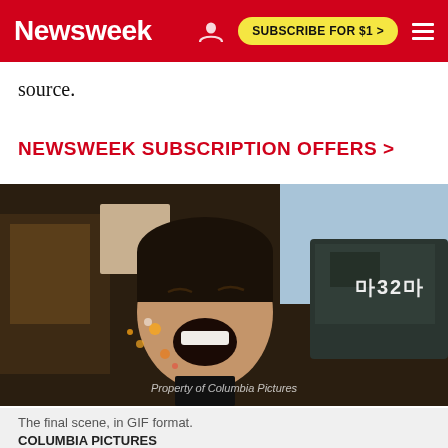Newsweek | SUBSCRIBE FOR $1 >
source.
NEWSWEEK SUBSCRIPTION OFFERS >
[Figure (photo): A man screaming with an open mouth, debris flying around him, in front of a dark vehicle. Watermark reads: Property of Columbia Pictures]
The final scene, in GIF format.
COLUMBIA PICTURES